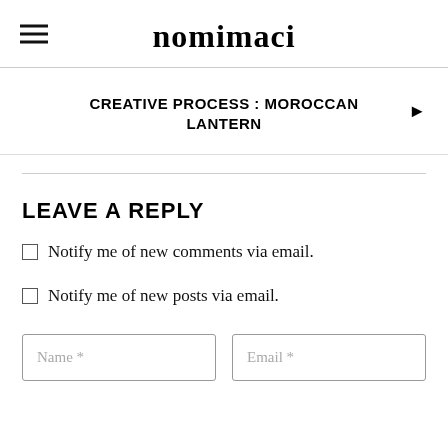nomimaci
CREATIVE PROCESS : MOROCCAN LANTERN
LEAVE A REPLY
Notify me of new comments via email.
Notify me of new posts via email.
Name *
Email *